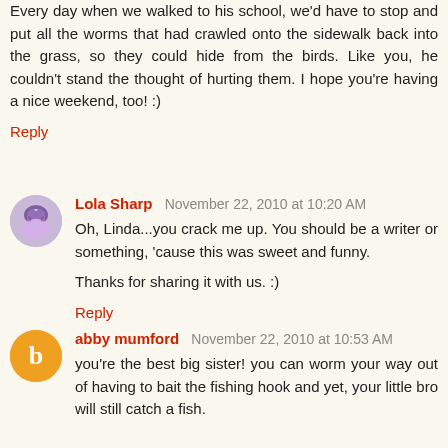Every day when we walked to his school, we'd have to stop and put all the worms that had crawled onto the sidewalk back into the grass, so they could hide from the birds. Like you, he couldn't stand the thought of hurting them. I hope you're having a nice weekend, too! :)
Reply
Lola Sharp  November 22, 2010 at 10:20 AM
Oh, Linda...you crack me up. You should be a writer or something, 'cause this was sweet and funny.

Thanks for sharing it with us. :)
Reply
abby mumford  November 22, 2010 at 10:53 AM
you're the best big sister! you can worm your way out of having to bait the fishing hook and yet, your little bro will still catch a fish.